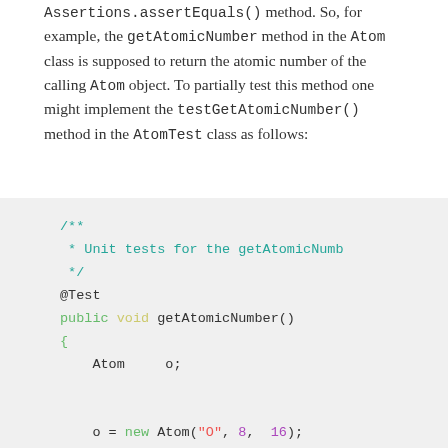Assertions.assertEquals() method. So, for example, the getAtomicNumber method in the Atom class is supposed to return the atomic number of the calling Atom object. To partially test this method one might implement the testGetAtomicNumber() method in the AtomTest class as follows:
[Figure (screenshot): Java code block showing a JUnit test method for getAtomicNumber() with syntax highlighting. Shows: /** * Unit tests for the getAtomicNumb */ @Test public void getAtomicNumber() { Atom o; o = new Atom("O", 8, 16); assertEquals(8, o.getAtomicNumb]